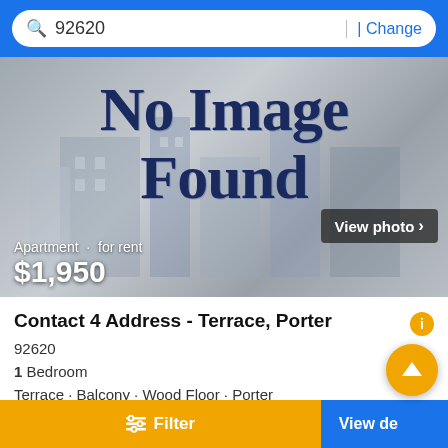92620 | Change
[Figure (photo): Property listing placeholder image with 'No Image Found' text overlay, showing a blurry building in the background. Overlaid text shows 'Apartment · for rent' and '$1,950'. A 'View photo >' button appears in the lower right of the image.]
Contact 4 Address - Terrace, Porter
92620
1 Bedroom
Terrace · Balcony · Wood Floor · Porter
First seen over a month ago
Filter
View details